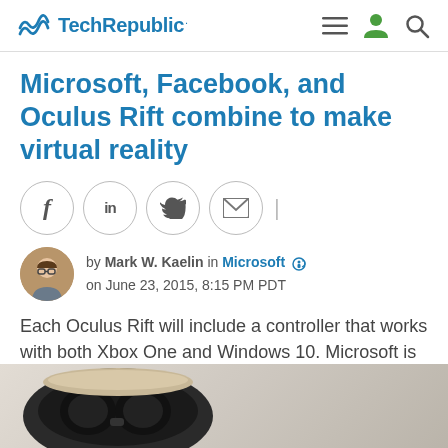TechRepublic
Microsoft, Facebook, and Oculus Rift combine to make virtual reality
by Mark W. Kaelin in Microsoft on June 23, 2015, 8:15 PM PDT
Each Oculus Rift will include a controller that works with both Xbox One and Windows 10. Microsoft is placing a bet on virtual reality.
[Figure (photo): Bottom portion of a VR headset (Oculus Rift) on a light gray background]